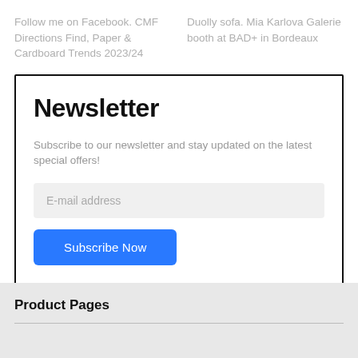Follow me on Facebook. CMF Directions Find, Paper & Cardboard Trends 2023/24
Duolly sofa. Mia Karlova Galerie booth at BAD+ in Bordeaux
Newsletter
Subscribe to our newsletter and stay updated on the latest special offers!
E-mail address
Subscribe Now
Product Pages